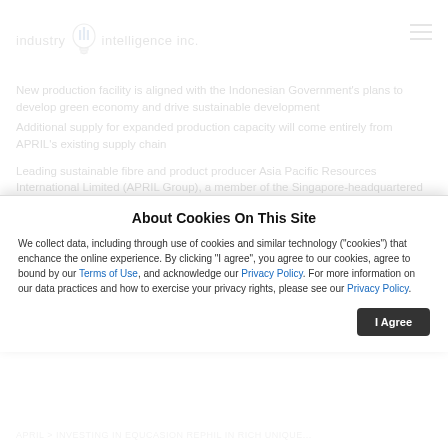industry iii intelligence inc.
New production facility is aligned with the Indonesian Government's plans to develop green economy and drive sustainable development
Additional supply for expanded production capacity will come entirely from APRIL's existing supply chain
Leading sustainable fibre and product producer Asia Pacific Resources International Limited (APRIL Group), a member of the Singapore-headquartered RGE group of companies founded
About Cookies On This Site
We collect data, including through use of cookies and similar technology ("cookies") that enchance the online experience. By clicking "I agree", you agree to our cookies, agree to bound by our Terms of Use, and acknowledge our Privacy Policy. For more information on our data practices and how to exercise your privacy rights, please see our Privacy Policy.